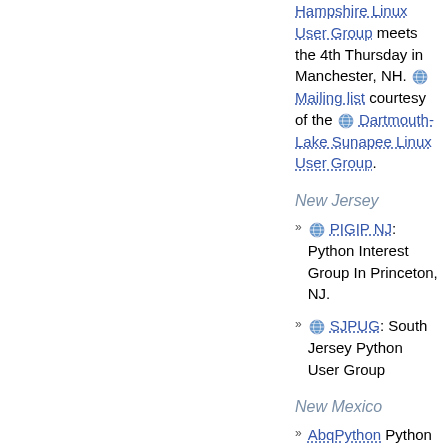Hampshire Linux User Group meets the 4th Thursday in Manchester, NH. Mailing list courtesy of the Dartmouth-Lake Sunapee Linux User Group.
New Jersey
PIGIP NJ: Python Interest Group In Princeton, NJ.
SJPUG: South Jersey Python User Group
New Mexico
AbqPython Python